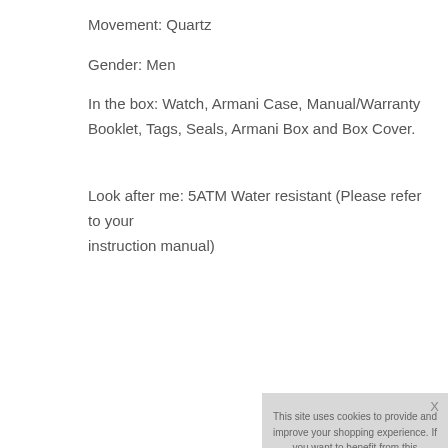Movement: Quartz
Gender: Men
In the box: Watch, Armani Case, Manual/Warranty Booklet, Tags, Seals, Armani Box and Box Cover.
Look after me: 5ATM Water resistant (Please refer to your instruction manual)
[Figure (screenshot): Cookie consent popup overlay with text: 'This site uses cookies to provide and improve your shopping experience. If you want to benefit from this improved service, please opt-in. Cookies Page.' and 'I opt-in to a better browsing experience' link and 'ACCEPT COOKIES' button.]
‹ View